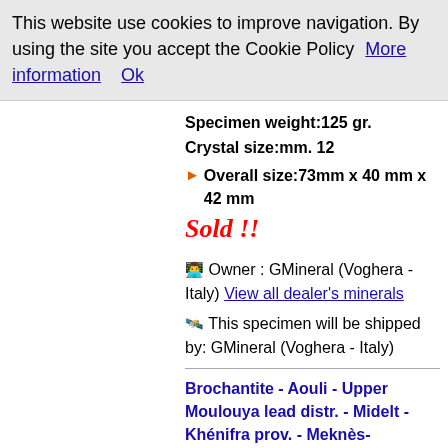This website use cookies to improve navigation. By using the site you accept the Cookie Policy  More information   Ok
Specimen weight:125 gr.
Crystal size:mm. 12
▶ Overall size:73mm x 40 mm x 42 mm
Sold !!
🧑 Owner : GMineral (Voghera - Italy) View all dealer's minerals
🚚 This specimen will be shipped by: GMineral (Voghera - Italy)
Brochantite - Aouli - Upper Moulouya lead distr. - Midelt - Khénifra prov. - Meknès-